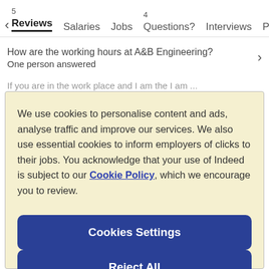< Reviews  5  Salaries  Jobs  4  Questions?  Interviews  Photos
How are the working hours at A&B Engineering? One person answered
If you are in the work place and I am the I am
We use cookies to personalise content and ads, analyse traffic and improve our services. We also use essential cookies to inform employers of clicks to their jobs. You acknowledge that your use of Indeed is subject to our Cookie Policy, which we encourage you to review.
Cookies Settings
Reject All
Accept All Cookies